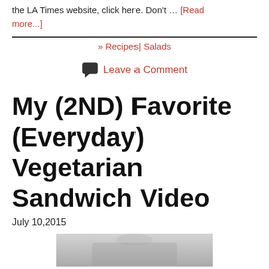the LA Times website, click here. Don't … [Read more...]
» Recipes| Salads
Leave a Comment
My (2ND) Favorite (Everyday) Vegetarian Sandwich Video
July 10,2015
[Figure (photo): Partial photo visible at bottom of page, appears to be a person outdoors]